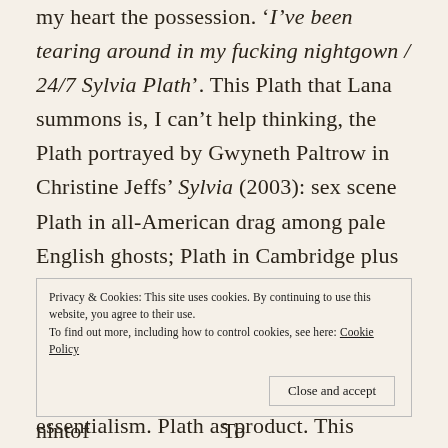my heart the possession. 'I've been tearing around in my fucking nightgown / 24/7 Sylvia Plath'. This Plath that Lana summons is, I can't help thinking, the Plath portrayed by Gwyneth Paltrow in Christine Jeffs' Sylvia (2003): sex scene Plath in all-American drag among pale English ghosts; Plath in Cambridge plus satchel; screaming Plath with the hairband and honeyed curls and all the fat cakes in the oven, the jealousy and gild. Pearl necklace and cigarettes, essentialism. Plath as product. This woman we have.
Privacy & Cookies: This site uses cookies. By continuing to use this website, you agree to their use. To find out more, including how to control cookies, see here: Cookie Policy
Close and accept
nint of ...